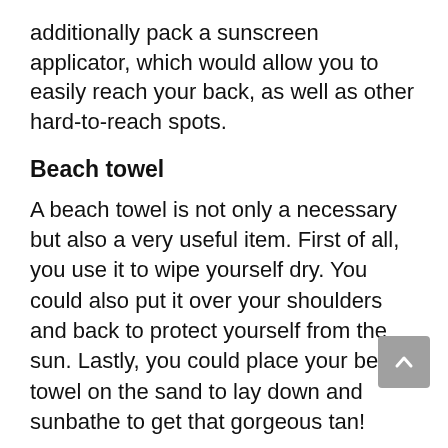additionally pack a sunscreen applicator, which would allow you to easily reach your back, as well as other hard-to-reach spots.
Beach towel
A beach towel is not only a necessary but also a very useful item. First of all, you use it to wipe yourself dry. You could also put it over your shoulders and back to protect yourself from the sun. Lastly, you could place your beach towel on the sand to lay down and sunbathe to get that gorgeous tan!
Sunhat